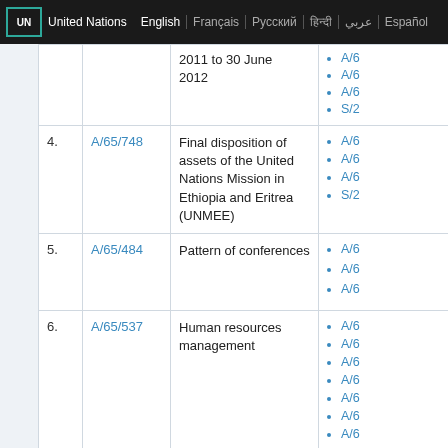UN | United Nations | English | Français | Русский | हिन्दी | عربي | Español
| # | Document | Title | Related documents |
| --- | --- | --- | --- |
|  |  | 2011 to 30 June 2012 | A/6..., A/6..., A/6..., S/2... |
| 4. | A/65/748 | Final disposition of assets of the United Nations Mission in Ethiopia and Eritrea (UNMEE) | A/6..., A/6..., A/6..., S/2... |
| 5. | A/65/484 | Pattern of conferences | A/6..., A/6..., A/6... |
| 6. | A/65/537 | Human resources management | A/6..., A/6..., A/6..., A/6..., A/6..., A/6..., A/6... |